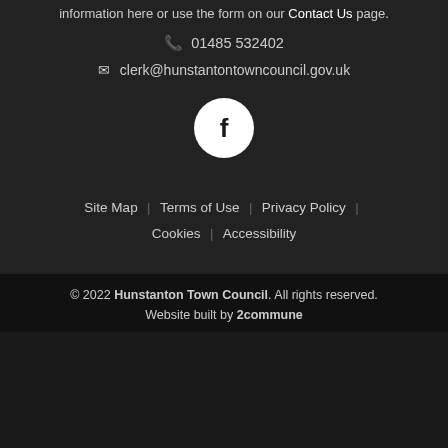information here or use the form on our Contact Us page.
📞 01485 532402
✉ clerk@hunstantontowncouncil.gov.uk
[Figure (logo): White circle with Facebook 'f' logo in black]
Site Map | Terms of Use | Privacy Policy | Cookies | Accessibility
© 2022 Hunstanton Town Council. All rights reserved. Website built by 2commune